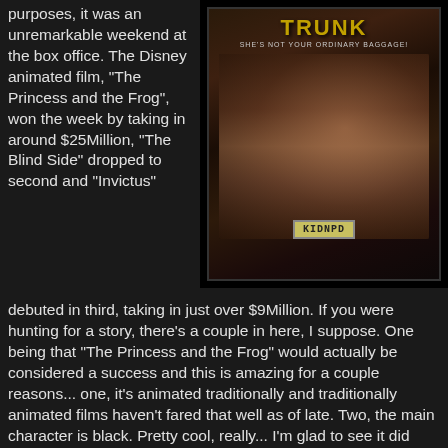purposes, it was an unremarkable weekend at the box office. The Disney animated film, "The Princess and the Frog", won the week by taking in around $25Million, "The Blind Side" dropped to second and "Invictus"
[Figure (photo): Movie poster for a film called 'TRUNK' with tagline 'SHE'S NOT YOUR ORDINARY BAGGAGE!' showing a woman lying in what appears to be a car trunk, with a license plate reading 'KIDNPD']
debuted in third, taking in just over $9Million. If you were hunting for a story, there's a couple in here, I suppose. One being that "The Princess and the Frog" would actually be considered a success and this is amazing for a couple reasons... one, it's animated traditionally and traditionally animated films haven't fared that well as of late. Two, the main character is black. Pretty cool, really... I'm glad to see it did well. I find it a little odd that "Invictus" had a mediocre opening. After all, it is a Clint Eastwood film with Matt Damon and Morgan Freeman...